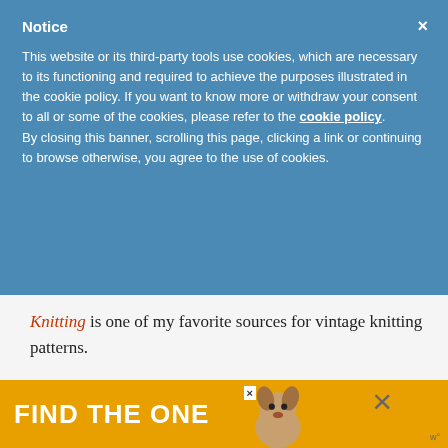Notice
This website or its third-party tools use cookies, which are necessary to its functioning and required to achieve the purposes illustrated in the cookie policy. If you want to know more or withdraw your consent to all or some of the cookies, please refer to the cookie policy. By closing this banner, scrolling this page, clicking a link or continuing to browse otherwise, you agree to the use of cookies.
Knitting is one of my favorite sources for vintage knitting patterns.
3. Intarsia colorwork is much easier to knit flat (vs. in the round), making it a dream to
[Figure (infographic): Advertisement banner with orange background showing text FIND THE ONE with a dog photo and close buttons]